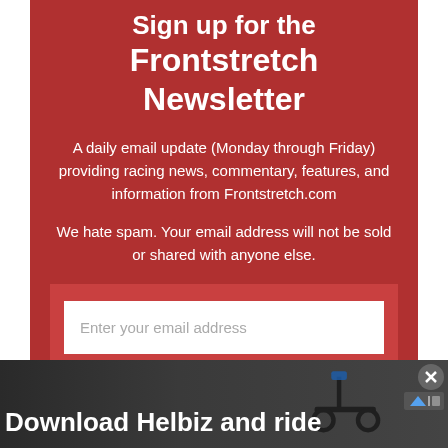Sign up for the Frontstretch Newsletter
A daily email update (Monday through Friday) providing racing news, commentary, features, and information from Frontstretch.com
We hate spam. Your email address will not be sold or shared with anyone else.
Enter your email address
Download Helbiz and ride